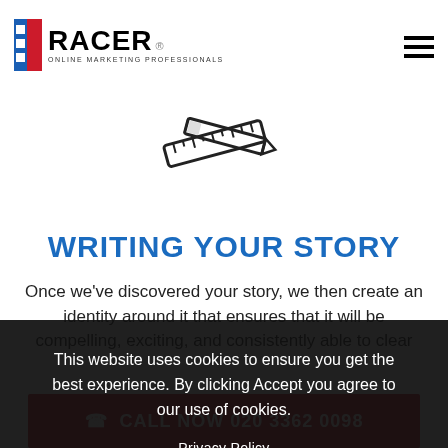[Figure (logo): RACER Online Marketing Professionals logo with blue square and red bar icon]
[Figure (illustration): Crossed pencil and ruler icon, outline style]
WRITING YOUR STORY
Once we've discovered your story, we then create an identity around it that ensures that it will be compelling, exciting, and consistently able to clear
This website uses cookies to ensure you get the best experience. By clicking Accept you agree to our use of cookies.
Privacy Policy
Accept
Decline
☎ CALL NOW 020 3362 0098